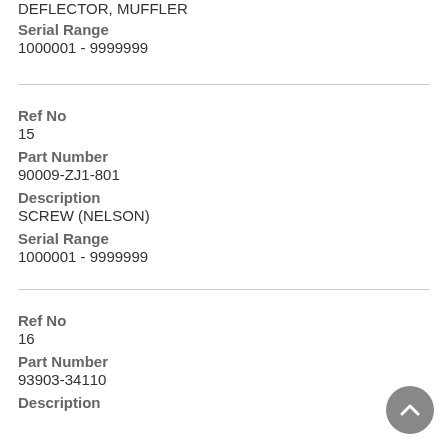DEFLECTOR, MUFFLER
Serial Range
1000001 - 9999999
Ref No
15
Part Number
90009-ZJ1-801
Description
SCREW (NELSON)
Serial Range
1000001 - 9999999
Ref No
16
Part Number
93903-34110
Description